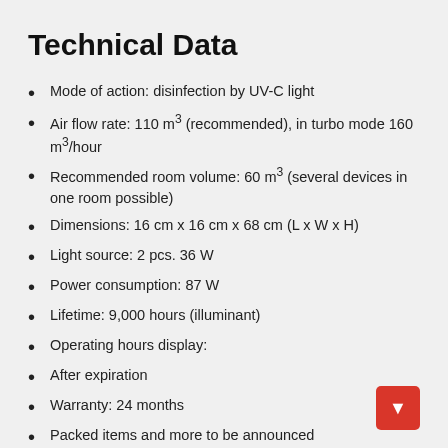Technical Data
Mode of action: disinfection by UV-C light
Air flow rate: 110 m³ (recommended), in turbo mode 160 m³/hour
Recommended room volume: 60 m³ (several devices in one room possible)
Dimensions: 16 cm x 16 cm x 68 cm (L x W x H)
Light source: 2 pcs. 36 W
Power consumption: 87 W
Lifetime: 9,000 hours (illuminant)
Operating hours display:
After expiration
Warranty: 24 months
Packed items and more to be announced...